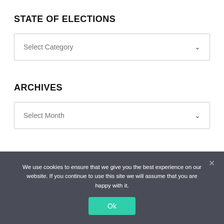STATE OF ELECTIONS
[Figure (screenshot): Dropdown selector labeled 'Select Category' with a downward chevron arrow on the right side, bordered box on white background]
ARCHIVES
[Figure (screenshot): Dropdown selector labeled 'Select Month' with a downward chevron arrow on the right side, bordered box on white background]
We use cookies to ensure that we give you the best experience on our website. If you continue to use this site we will assume that you are happy with it.
Ok